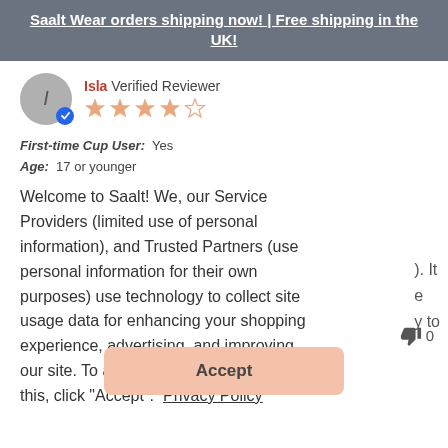Saalt Wear orders shipping now! | Free shipping in the UK!
Isla  Verified Reviewer
First-time Cup User:  Yes
Age:  17 or younger
Welcome to Saalt! We, our Service Providers (limited use of personal information), and Trusted Partners (use personal information for their own purposes) use technology to collect site usage data for enhancing your shopping experience, advertising, and improving our site. To allow Trusted Partners to do this, click "Accept".  Privacy Policy
Accept